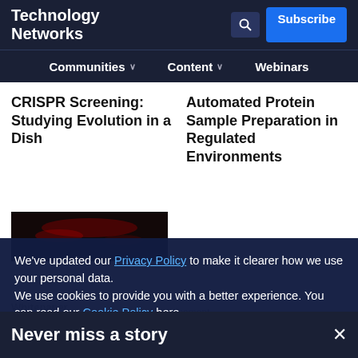Technology Networks
Communities  Content  Webinars
CRISPR Screening: Studying Evolution in a Dish
Automated Protein Sample Preparation in Regulated Environments
[Figure (photo): Dark background photo with red light elements]
We've updated our Privacy Policy to make it clearer how we use your personal data.
We use cookies to provide you with a better experience. You can read our Cookie Policy here.
I Understand
Whitepaper
Advertisement
Never miss a story